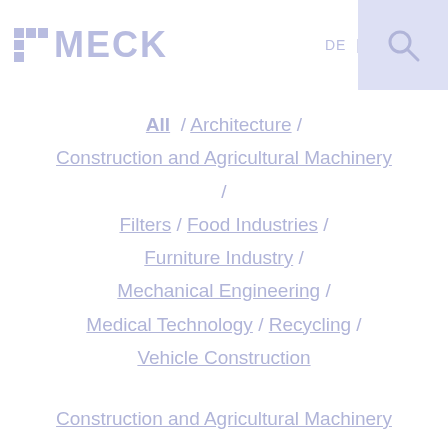[Figure (logo): MECK logo with grid icon and text]
All / Architecture / Construction and Agricultural Machinery / Filters / Food Industries / Furniture Industry / Mechanical Engineering / Medical Technology / Recycling / Vehicle Construction
Construction and Agricultural Machinery